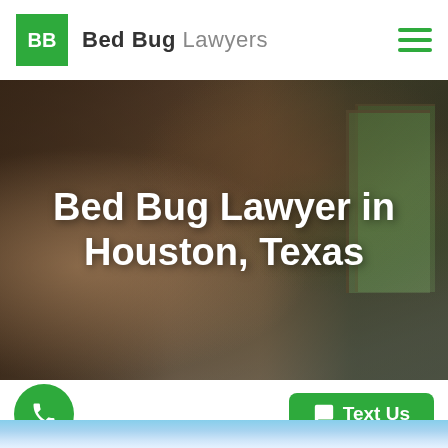BB Bed Bug Lawyers
[Figure (photo): Bedroom with bed, pillows, wooden walls and window in background, dark overlay, hero image for Bed Bug Lawyers website]
Bed Bug Lawyer in Houston, Texas
[Figure (photo): Bottom strip showing sky with clouds]